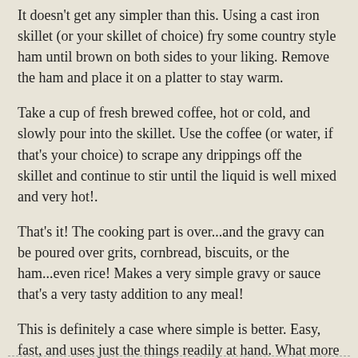It doesn't get any simpler than this. Using a cast iron skillet (or your skillet of choice) fry some country style ham until brown on both sides to your liking. Remove the ham and place it on a platter to stay warm.
Take a cup of fresh brewed coffee, hot or cold, and slowly pour into the skillet. Use the coffee (or water, if that's your choice) to scrape any drippings off the skillet and continue to stir until the liquid is well mixed and very hot!.
That's it! The cooking part is over...and the gravy can be poured over grits, cornbread, biscuits, or the ham...even rice! Makes a very simple gravy or sauce that's a very tasty addition to any meal!
This is definitely a case where simple is better. Easy, fast, and uses just the things readily at hand. What more could you ask for? In this case, maybe just a second helping!
Now, my friends, how about coffee in the kitchen this morning?